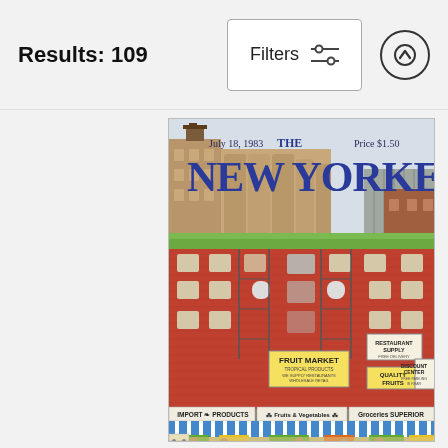Results: 109
[Figure (screenshot): Filters button with sliders icon and up-arrow circle button in a search/filter UI header bar]
[Figure (illustration): The New Yorker magazine cover, July 18, 1983, Price $1.50. Illustrated cover showing New York City brick apartment buildings with storefronts including Fruit Market, Import Products, Fruits & Vegetables, Groceries, Quality Fruits, Restaurant Supply, Discount Center signs, with a city skyline behind and street market scene at bottom.]